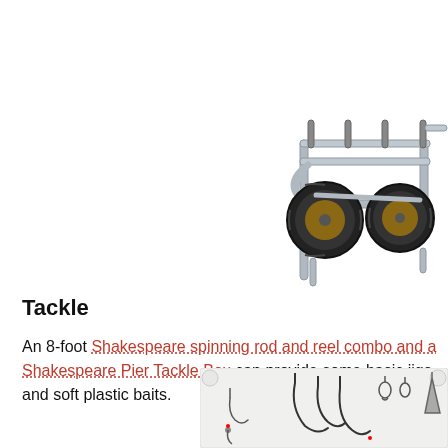[Figure (photo): A fishing pier cart/trolley with large pneumatic wheels, aluminum tube frame construction, viewed from an angle. The cart has rod holders and a frame for carrying gear.]
Tackle
An 8-foot Shakespeare spinning rod and reel combo and a Shakespeare Pier Tackle Box can provide some basic jigs and soft plastic baits.
[Figure (photo): A fishing tackle box with a clear/white lid showing various hooks, jigs, sinkers, and fishing tackle items arranged inside.]